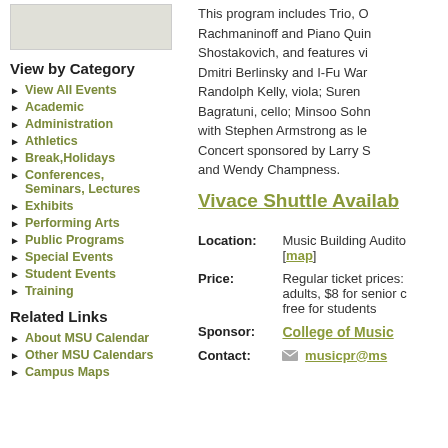[Figure (other): Placeholder gray image box]
View by Category
View All Events
Academic
Administration
Athletics
Break,Holidays
Conferences, Seminars, Lectures
Exhibits
Performing Arts
Public Programs
Special Events
Student Events
Training
Related Links
About MSU Calendar
Other MSU Calendars
Campus Maps
This program includes Trio, O Rachmaninoff and Piano Quin Shostakovich, and features vi Dmitri Berlinsky and I-Fu War Randolph Kelly, viola; Suren Bagratuni, cello; Minsoo Sohn with Stephen Armstrong as le Concert sponsored by Larry S and Wendy Champness.
Vivace Shuttle Availab
Location: Music Building Audito [map]
Price: Regular ticket prices: adults, $8 for senior c free for students
Sponsor: College of Music
Contact: musicpr@ms